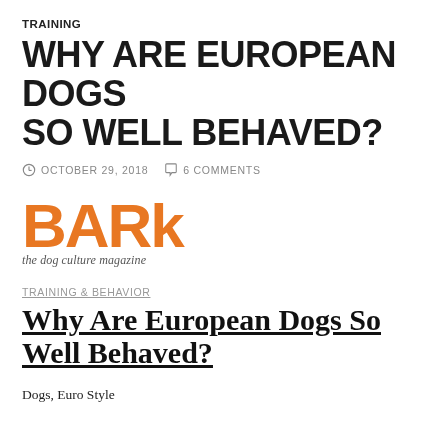TRAINING
WHY ARE EUROPEAN DOGS SO WELL BEHAVED?
OCTOBER 29, 2018   6 COMMENTS
[Figure (logo): BARK the dog culture magazine logo in orange bold text with italic subtitle]
TRAINING & BEHAVIOR
Why Are European Dogs So Well Behaved?
Dogs, Euro Style